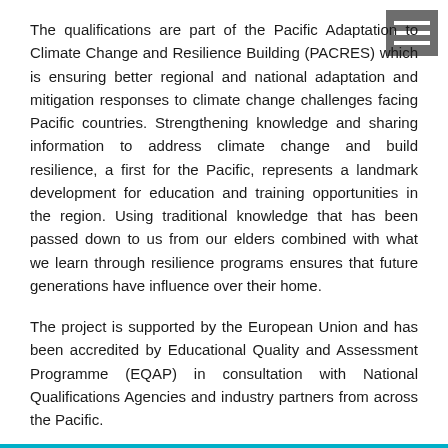[Figure (other): Hamburger menu icon — three white horizontal lines on a dark grey square background, positioned in the top-right corner]
The qualifications are part of the Pacific Adaptation to Climate Change and Resilience Building (PACRES) which is ensuring better regional and national adaptation and mitigation responses to climate change challenges facing Pacific countries. Strengthening knowledge and sharing information to address climate change and build resilience, a first for the Pacific, represents a landmark development for education and training opportunities in the region. Using traditional knowledge that has been passed down to us from our elders combined with what we learn through resilience programs ensures that future generations have influence over their home.
The project is supported by the European Union and has been accredited by Educational Quality and Assessment Programme (EQAP) in consultation with National Qualifications Agencies and industry partners from across the Pacific.
Division
Educational Quality and Assessment Programme (EQAP)
Geoscience, Energy and Maritime (GEM) Division